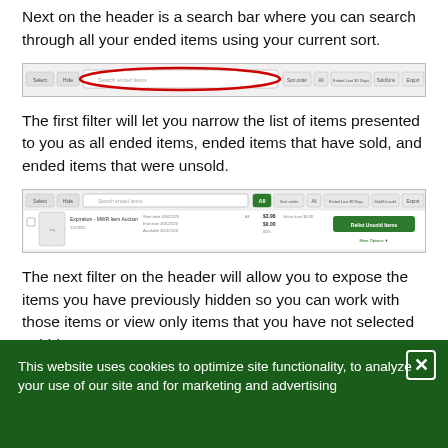Next on the header is a search bar where you can search through all your ended items using your current sort.
[Figure (screenshot): Screenshot of a toolbar/header with a search bar highlighted by a red oval circle. Multiple filter buttons visible to the right.]
The first filter will let you narrow the list of items presented to you as all ended items, ended items that have sold, and ended items that were unsold.
[Figure (screenshot): Screenshot of an ended items list with filter buttons at top (All highlighted in green), and one item row showing auction details with a 'Relist Unsold Items' green button.]
The next filter on the header will allow you to expose the items you have previously hidden so you can work with those items or view only items that you have not selected to hide.
This website uses cookies to optimize site functionality, to analyze your use of our site and for marketing and advertising